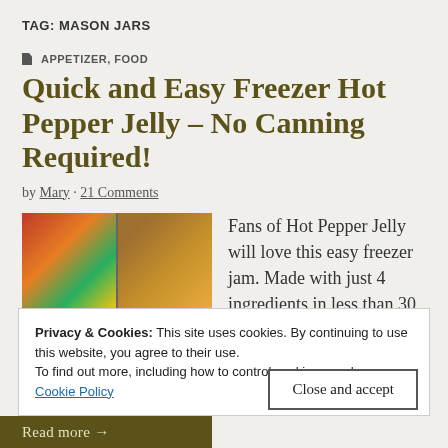TAG: MASON JARS
APPETIZER, FOOD
Quick and Easy Freezer Hot Pepper Jelly – No Canning Required!
by Mary · 21 Comments
[Figure (photo): Collage of hot pepper jelly images: colorful peppers, jars of jelly, sugar, and a label reading Easy Freezer HOT PEPPER JELLY]
Fans of Hot Pepper Jelly will love this easy freezer jam. Made with just 4 ingredients in less than 30 minutes, no canning required! Happy Thursday! Are
Privacy & Cookies: This site uses cookies. By continuing to use this website, you agree to their use.
To find out more, including how to control cookies, see here:
Cookie Policy
Close and accept
Read more →